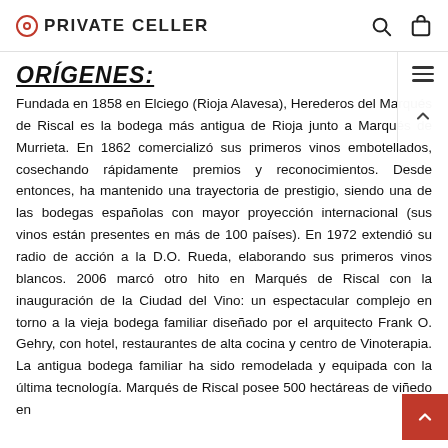PRIVATE CELLER
ORÍGENES:
Fundada en 1858 en Elciego (Rioja Alavesa), Herederos del Marqués de Riscal es la bodega más antigua de Rioja junto a Marqués de Murrieta. En 1862 comercializó sus primeros vinos embotellados, cosechando rápidamente premios y reconocimientos. Desde entonces, ha mantenido una trayectoria de prestigio, siendo una de las bodegas españolas con mayor proyección internacional (sus vinos están presentes en más de 100 países). En 1972 extendió su radio de acción a la D.O. Rueda, elaborando sus primeros vinos blancos. 2006 marcó otro hito en Marqués de Riscal con la inauguración de la Ciudad del Vino: un espectacular complejo en torno a la vieja bodega familiar diseñado por el arquitecto Frank O. Gehry, con hotel, restaurantes de alta cocina y centro de Vinoterapia. La antigua bodega familiar ha sido remodelada y equipada con la última tecnología. Marqués de Riscal posee 500 hectáreas de viñedo en